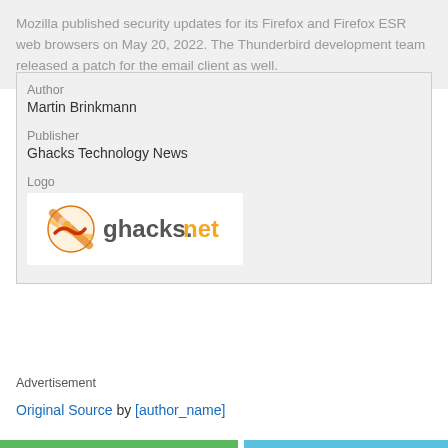Mozilla published security updates for its Firefox and Firefox ESR web browsers on May 20, 2022. The Thunderbird development team released a patch for the email client as well.
Author
Martin Brinkmann
Publisher
Ghacks Technology News
Logo
[Figure (logo): Ghacks.net logo with orange globe icon and text 'ghacks.net']
Advertisement
Original Source by [author_name]